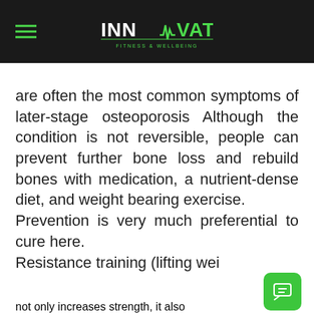[Figure (logo): Innovate Fitness & Wellbeing logo with green pulse line and hamburger menu on black header bar]
are often the most common symptoms of later-stage osteoporosis Although the condition is not reversible, people can prevent further bone loss and rebuild bones with medication, a nutrient-dense diet, and weight bearing exercise. Prevention is very much preferential to cure here. Resistance training (lifting wei... not only increases strength, it also